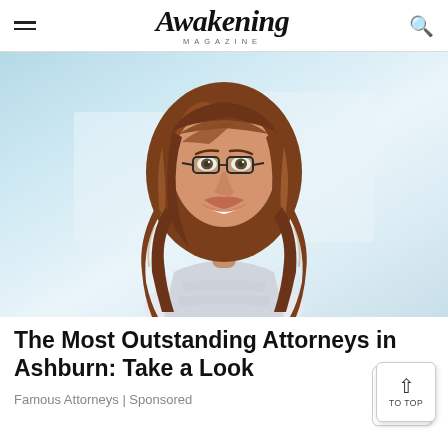Awakening MAGAZINE
[Figure (photo): Professional woman with long auburn/brown hair, wearing glasses and a striped top, smiling confidently against a light blue background]
The Most Outstanding Attorneys in Ashburn: Take a Look
Famous Attorneys | Sponsored